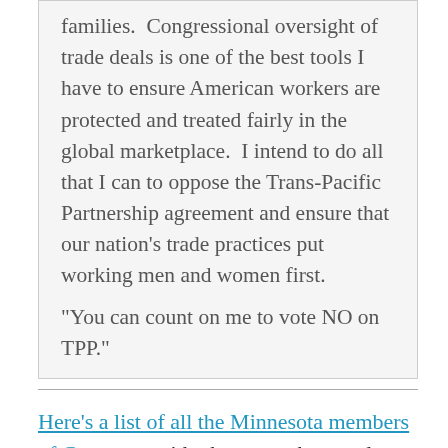families.  Congressional oversight of trade deals is one of the best tools I have to ensure American workers are protected and treated fairly in the global marketplace.  I intend to do all that I can to oppose the Trans-Pacific Partnership agreement and ensure that our nation's trade practices put working men and women first.
“You can count on me to vote NO on TPP.”
Here’s a list of all the Minnesota members of Congress, with phone numbers and email links. Send an email. If you can’t figure out what to say, feel free to copy anything from this post. But speak up now, so that members of Congress know that their constituents want to count on them to vote NO on TPPP> .
To ensure a future where...